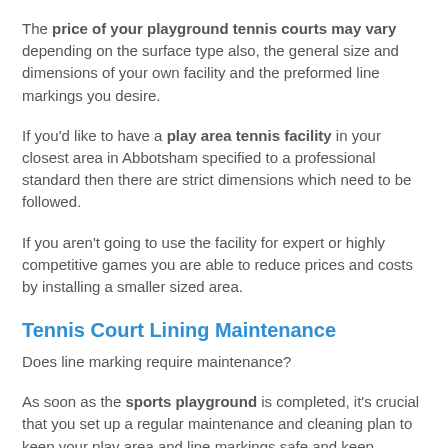The price of your playground tennis courts may vary depending on the surface type also, the general size and dimensions of your own facility and the preformed line markings you desire.
If you'd like to have a play area tennis facility in your closest area in Abbotsham specified to a professional standard then there are strict dimensions which need to be followed.
If you aren't going to use the facility for expert or highly competitive games you are able to reduce prices and costs by installing a smaller sized area.
Tennis Court Lining Maintenance
Does line marking require maintenance?
As soon as the sports playground is completed, it's crucial that you set up a regular maintenance and cleaning plan to keep your play area and line markings safe and keep effective playing qualities.